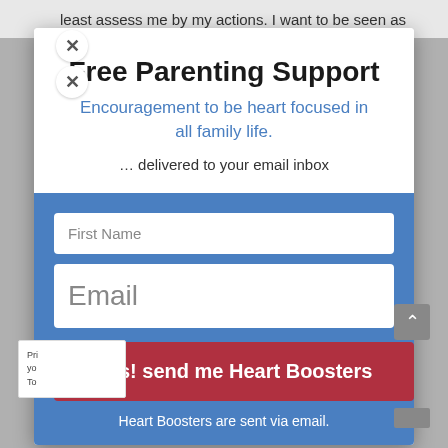least assess me by my actions. I want to be seen as
Free Parenting Support
Encouragement to be heart focused in all family life.
… delivered to your email inbox
First Name
Email
Yes! send me Heart Boosters
Heart Boosters are sent via email.